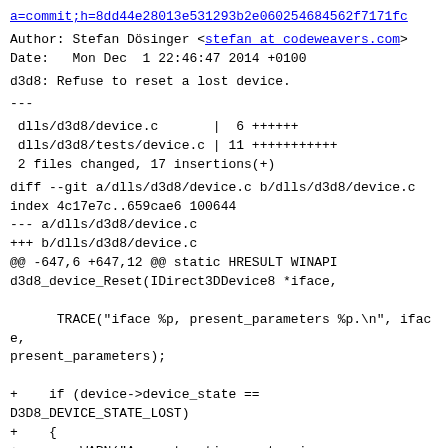a=commit;h=8dd44e28013e531293b2e060254684562f7171fc
Author: Stefan Dösinger <stefan at codeweavers.com>
Date:   Mon Dec  1 22:46:47 2014 +0100
d3d8: Refuse to reset a lost device.
---
dlls/d3d8/device.c       |  6 ++++++
 dlls/d3d8/tests/device.c | 11 +++++++++++
 2 files changed, 17 insertions(+)
diff --git a/dlls/d3d8/device.c b/dlls/d3d8/device.c
index 4c17e7c..659cae6 100644
--- a/dlls/d3d8/device.c
+++ b/dlls/d3d8/device.c
@@ -647,6 +647,12 @@ static HRESULT WINAPI
d3d8_device_Reset(IDirect3DDevice8 *iface,

      TRACE("iface %p, present_parameters %p.\n", iface,
present_parameters);

+    if (device->device_state ==
D3D8_DEVICE_STATE_LOST)
+    {
+        WARN("App not active, returning
D3DERR_DEVICELOST.\n");
+        return D3DERR_DEVICELOST;
+    }